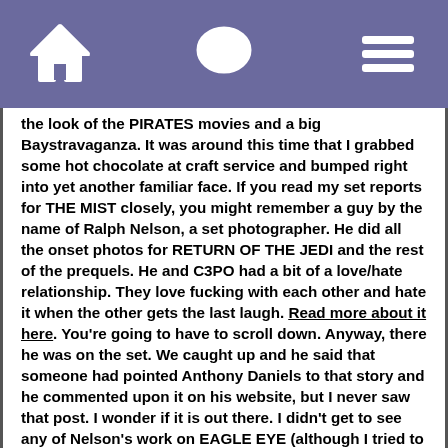[navigation bar with home, chat, and menu icons]
the look of the PIRATES movies and a big Baystravaganza. It was around this time that I grabbed some hot chocolate at craft service and bumped right into yet another familiar face. If you read my set reports for THE MIST closely, you might remember a guy by the name of Ralph Nelson, a set photographer. He did all the onset photos for RETURN OF THE JEDI and the rest of the prequels. He and C3PO had a bit of a love/hate relationship. They love fucking with each other and hate it when the other gets the last laugh. Read more about it here. You're going to have to scroll down. Anyway, there he was on the set. We caught up and he said that someone had pointed Anthony Daniels to that story and he commented upon it on his website, but I never saw that post. I wonder if it is out there. I didn't get to see any of Nelson's work on EAGLE EYE (although I tried to get an exclusive pic for this article… guess it just